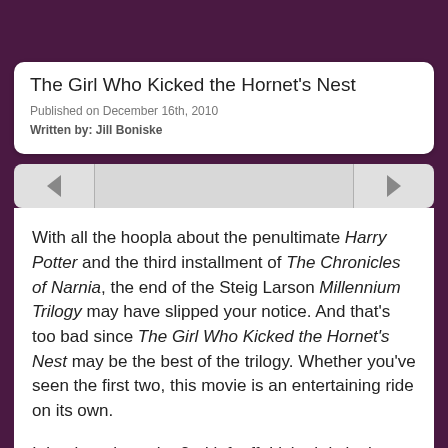The Girl Who Kicked the Hornet's Nest
Published on December 16th, 2010
Written by: Jill Boniske
With all the hoopla about the penultimate Harry Potter and the third installment of The Chronicles of Narnia, the end of the Steig Larson Millennium Trilogy may have slipped your notice. And that’s too bad since The Girl Who Kicked the Hornet’s Nest may be the best of the trilogy. Whether you’ve seen the first two, this movie is an entertaining ride on its own.
It begins where the 2nd left off. Lisbeth is in the hospital recovering from a gunshot to the head delivered by her evil father who is in the same hospital put there by Lisbeth herself. As soon as she heals, she’ll be going on trial for his